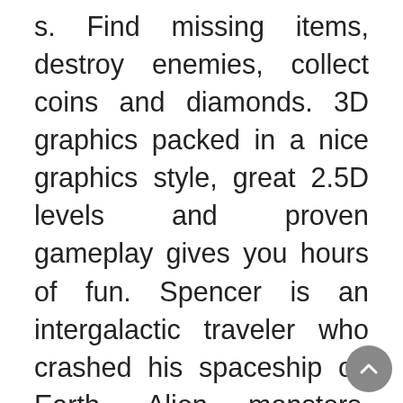s. Find missing items, destroy enemies, collect coins and diamonds. 3D graphics packed in a nice graphics style, great 2.5D levels and proven gameplay gives you hours of fun. Spencer is an intergalactic traveler who crashed his spaceship on Earth. Alien monsters, stowaways, have broken out and stole important parts to repair the spaceship. Help Spencer to get the missing items for his ship. Destroy enemies, collect coins and diamonds to cover all tracks on earth.Gameplay:You have to collect all Coins to open the exit machine and finish the level. When all Coins are collected, bonus diamonds appear. Be fast, the house ghost is following you and will steal all your bonus diamonds. Use special items carefully to trick the ghost and get more diamonds and enemies for a great highscore. Features:- Classic Jump´n Run (Platformer)- Collect coins, jewels and special items- 80 Levels- 5 different environments- Many unique enemies- Specials like dash and double jump for more fun- Traps and obstacles for a challenging gameplay- Comic style 3D graphics- Full controller support- easy game mode if it´s to hard for your (go to s